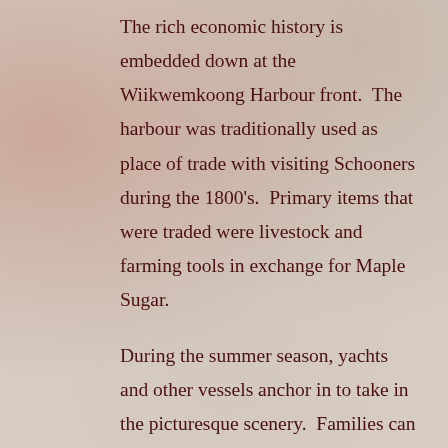The rich economic history is embedded down at the Wiikwemkoong Harbour front.  The harbour was traditionally used as place of trade with visiting Schooners during the 1800's.  Primary items that were traded were livestock and farming tools in exchange for Maple Sugar.
During the summer season, yachts and other vessels anchor in to take in the picturesque scenery.  Families can